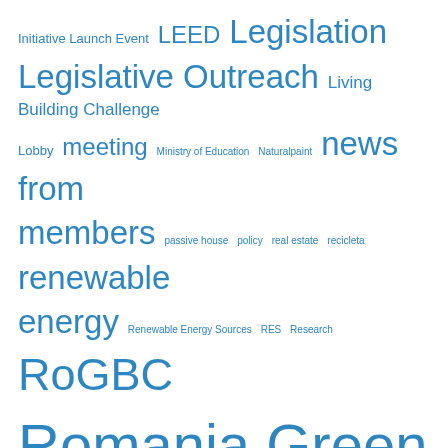[Figure (infographic): A tag cloud / word cloud with terms related to green building, sustainability, and Romania Green Building Council. Words appear in various font sizes proportional to frequency/importance, all in blue on white background. Terms include: Initiative Launch Event, LEED, Legislation, Legislative Outreach, Living Building Challenge, Lobby, meeting, Ministry of Education, Naturalpaint, news from members, passive house, policy, real estate, recicleta, renewable energy, Renewable Energy Sources, RES, Research, RoGBC, Romania Green Building Council, Romania Green Building Professional, strategy, Subventions, sustainability, sustainable architecture, sustainable arhitecture, Sustainable Construction, Sustainable Development, sustainable_development, Timisoara, Training, workshop.]